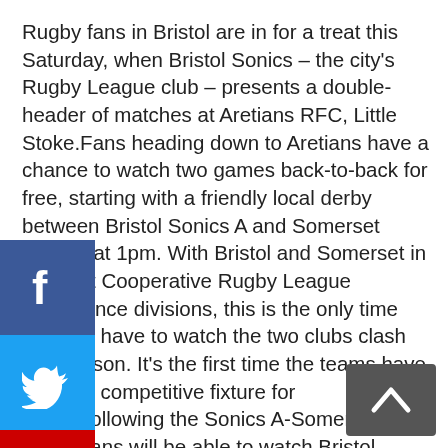Rugby fans in Bristol are in for a treat this Saturday, when Bristol Sonics – the city's Rugby League club – presents a double-header of matches at Aretians RFC, Little Stoke.Fans heading down to Aretians have a chance to watch two games back-to-back for free, starting with a friendly local derby between Bristol Sonics A and Somerset Vikings at 1pm. With Bristol and Somerset in different Cooperative Rugby League Conference divisions, this is the only time fans will have to watch the two clubs clash this season. It's the first time the teams have met in a competitive fixture for years.Following the Sonics A-Somerset game, fans will be able to watch Bristol Sonics' in-form first team take on Cooperative Rugby League Conference West Midlands rivals Leamington Royals for the first time (kick-off 2.30pm). Sonics' first team have been in great form so far this season, notching up back-to-back high scoring victories over Birmingham Bulldogs and Telford Raiders. Bristol will be looking to cement their place at the top of the West Midlands